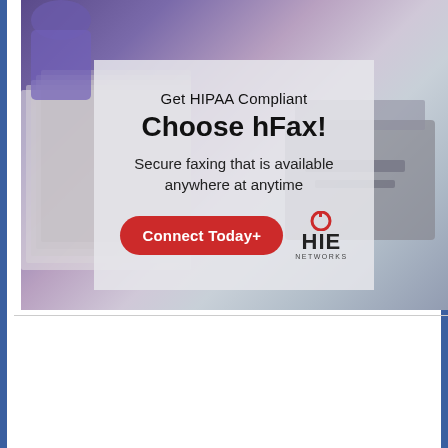[Figure (infographic): Advertisement for hFax HIPAA-compliant fax service by HIE Networks. Background photo of fax machine and papers. Overlay box contains text: 'Get HIPAA Compliant', 'Choose hFax!', 'Secure faxing that is available anywhere at anytime', a red 'Connect Today+' button, and HIE Networks logo.]
Visit our website
[Figure (logo): Facebook logo icon - blue square with white 'f']